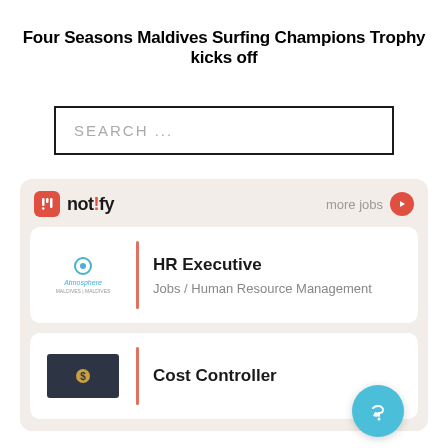Four Seasons Maldives Surfing Champions Trophy kicks off
[Figure (screenshot): Search input box with placeholder text SEARCH ...]
[Figure (infographic): Notify jobs widget showing HR Executive (Jobs / Human Resource Management) and Cost Controller job listings with Atmosphere logo and dark logo box]